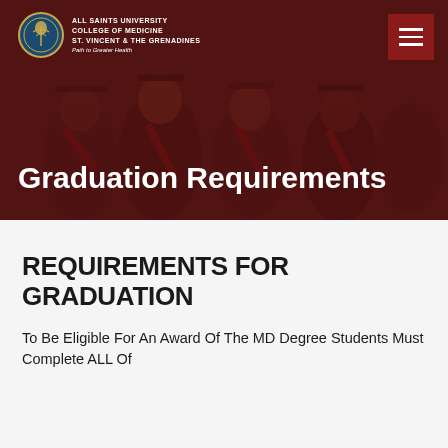[Figure (photo): Graduation ceremony photo showing graduates in caps and gowns with red sashes, dark reddish-brown overlay tint]
ALL SAINTS UNIVERSITY COLLEGE OF MEDICINE ST. VINCENT & THE GRENADINES Path to Greater Health
Graduation Requirements
REQUIREMENTS FOR GRADUATION
To Be Eligible For An Award Of The MD Degree Students Must Complete ALL Of